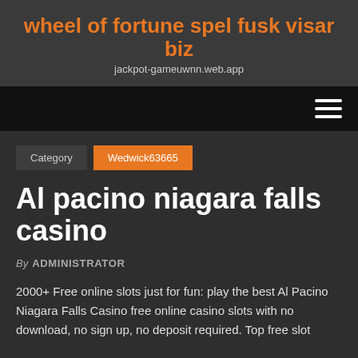wheel of fortune spel fusk visar biz
jackpot-gameuwnn.web.app
navigation menu
Category   Wedwick63665
Al pacino niagara falls casino
By ADMINISTRATOR
2000+ Free online slots just for fun: play the best Al Pacino Niagara Falls Casino free online casino slots with no download, no sign up, no deposit required. Top free slot